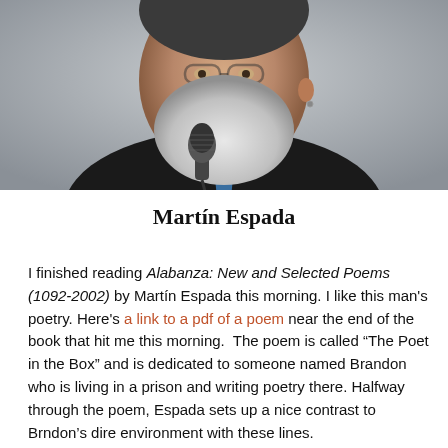[Figure (photo): Close-up photograph of a bearded man with gray-white beard speaking into a microphone, wearing a dark jacket and blue tie, gray background.]
Martín Espada
I finished reading Alabanza: New and Selected Poems (1092-2002) by Martín Espada this morning. I like this man's poetry. Here's a link to a pdf of a poem near the end of the book that hit me this morning.  The poem is called "The Poet in the Box" and is dedicated to someone named Brandon who is living in a prison and writing poetry there. Halfway through the poem, Espada sets up a nice contrast to Brndon's dire environment with these lines.